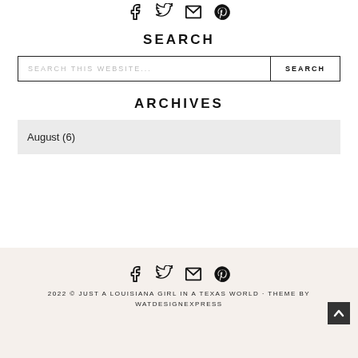[Figure (infographic): Social media icons row: Facebook, Twitter, Email, Pinterest at top of page]
SEARCH
SEARCH THIS WEBSITE... SEARCH (search bar with button)
ARCHIVES
August (6) (dropdown)
[Figure (infographic): Social media icons row in footer: Facebook, Twitter, Email, Pinterest]
2022 © JUST A LOUISIANA GIRL IN A TEXAS WORLD · THEME BY WATDESIGNEXPRESS